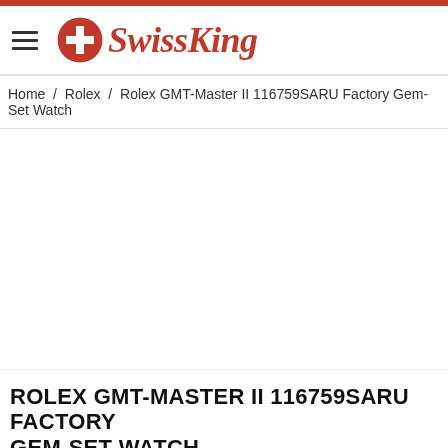SwissKing
Home / Rolex / Rolex GMT-Master II 116759SARU Factory Gem-Set Watch
[Figure (photo): Product image area (blank white) for Rolex GMT-Master II 116759SARU Factory Gem-Set Watch]
ROLEX GMT-MASTER II 116759SARU FACTORY GEM-SET WATCH